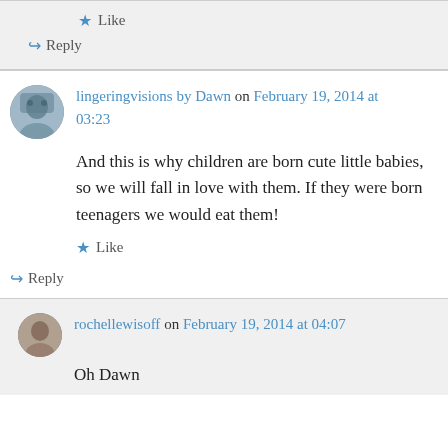Like
Reply
lingeringvisions by Dawn on February 19, 2014 at 03:23
And this is why children are born cute little babies, so we will fall in love with them. If they were born teenagers we would eat them!
Like
Reply
rochellewisoff on February 19, 2014 at 04:07
Oh Dawn